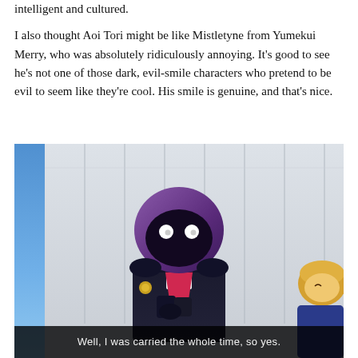intelligent and cultured.
I also thought Aoi Tori might be like Mistletyne from Yumekui Merry, who was absolutely ridiculously annoying. It's good to see he's not one of those dark, evil-smile characters who pretend to be evil to seem like they're cool. His smile is genuine, and that's nice.
[Figure (screenshot): Anime screenshot showing a character with a large dark rounded purple head wearing a dark suit with red chest accent, white shirt visible underneath. A blonde character is partially visible at the right edge. The background shows a wall with vertical panels and a blue sky on the left. Subtitle text reads: Well, I was carried the whole time, so yes.]